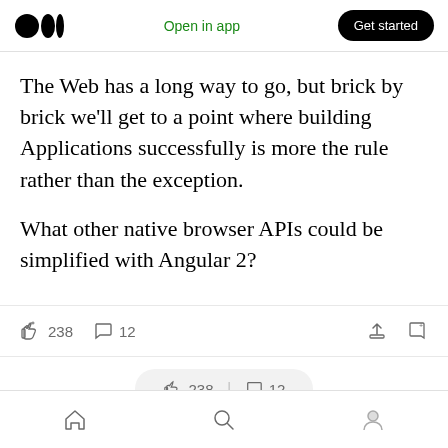Open in app | Get started
The Web has a long way to go, but brick by brick we'll get to a point where building Applications successfully is more the rule rather than the exception.
What other native browser APIs could be simplified with Angular 2?
👏 238   💬 12
👏 238 | 💬 12